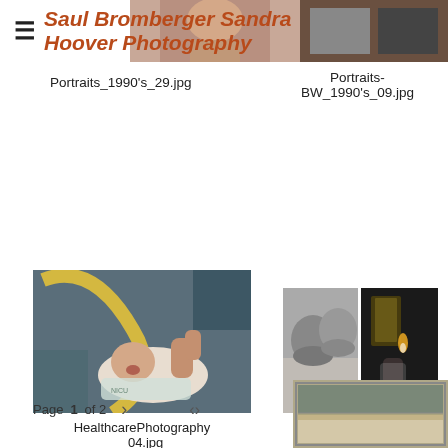Saul Bromberger Sandra Hoover Photography
Portraits_1990's_29.jpg
Portraits-BW_1990's_09.jpg
[Figure (photo): Color photo of a newborn baby in a hospital incubator/NICU setting]
[Figure (photo): Black and white diptych: left panel shows two people in close embrace (elderly woman and younger person), right panel shows a person in a darkened room near a window with a candle]
HealthcarePhotography_04.jpg
Portraits-BW_1990's_11B.jpg
Page 1 of 2
[Figure (photo): Partial view of a black and white beach/ocean photograph at bottom right corner]